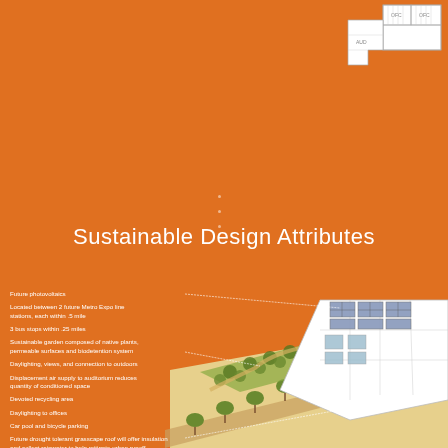[Figure (illustration): Architectural floor plan sketch in top right corner showing building layout with hatching]
Sustainable Design Attributes
[Figure (illustration): Axonometric architectural diagram of a sustainable building with garden, trees, solar panels, and surrounding site with labeled sustainable design features]
Future photovoltaics
Located between 2 future Metro Expo line stations, each within .5 mile
3 bus stops within .25 miles
Sustainable garden composed of native plants, permeable surfaces and biodetention system
Daylighting, views, and connection to outdoors
Displacement air supply to auditorium reduces quantity of conditioned space
Devoted recycling area
Daylighting to offices
Car pool and bicycle parking
Future drought tolerant grasscape roof will offer insulation and collect rainwater to help mitigate urban runoff